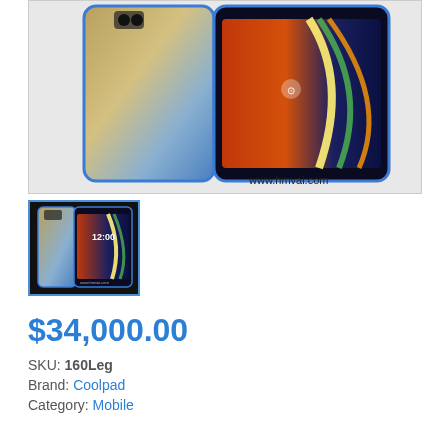[Figure (photo): Two Coolpad smartphones shown side by side — one showing the back (gradient gold/blue finish with dual camera) and one showing the front (colorful abstract wallpaper on screen). Watermark 'www.hmvai.com' in bottom right corner.]
[Figure (photo): Thumbnail image of the same Coolpad smartphones, smaller view showing both front and back of devices. Shows time 12:00 on screen.]
$34,000.00
SKU: 160Leg
Brand: Coolpad
Category: Mobile